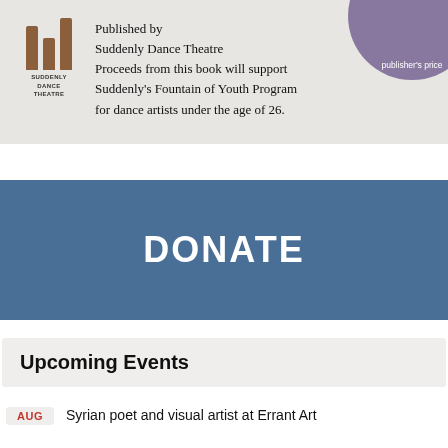[Figure (logo): Suddenly Dance Theatre logo with vertical bars and text label below]
Published by Suddenly Dance Theatre Proceeds from this book will support Suddenly's Fountain of Youth Program for dance artists under the age of 26.
publisher's price
DONATE
Upcoming Events
AUG  Syrian poet and visual artist at Errant Art